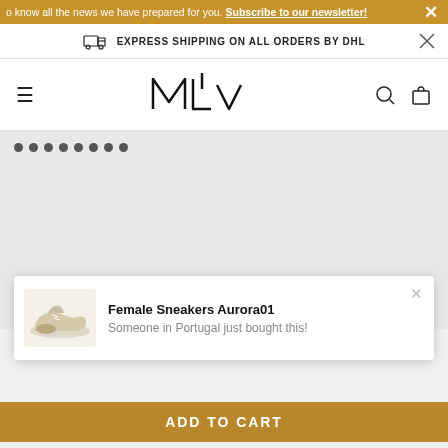o know all the news we have prepared for you. Subscribe to our newsletter!
EXPRESS SHIPPING ON ALL ORDERS BY DHL
[Figure (logo): MLV brand logo in stylized text]
[Figure (other): Gray main content/image carousel area with navigation dots]
Female Sneakers Aurora01
Someone in Portugal just bought this!
ADD TO CART